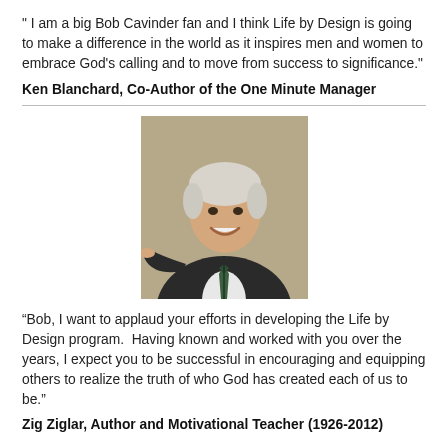" I am a big Bob Cavinder fan and I think Life by Design is going to make a difference in the world as it inspires men and women to embrace God's calling and to move from success to significance."
Ken Blanchard, Co-Author of the One Minute Manager
[Figure (photo): Portrait photo of an elderly smiling man in a dark suit with a green tie, pointing toward the camera, against a brownish background.]
“Bob, I want to applaud your efforts in developing the Life by Design program.  Having known and worked with you over the years, I expect you to be successful in encouraging and equipping others to realize the truth of who God has created each of us to be.”
Zig Ziglar, Author and Motivational Teacher (1926-2012)